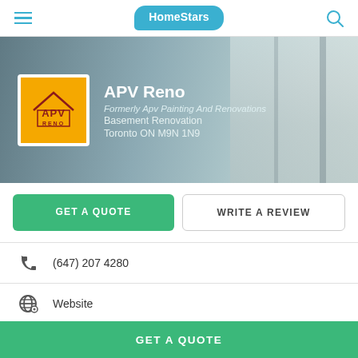HomeStars
[Figure (screenshot): APV Reno business profile hero banner with company logo on yellow background and company details]
APV Reno
Formerly Apv Painting And Renovations
Basement Renovation
Toronto ON M9N 1N9
GET A QUOTE
WRITE A REVIEW
(647) 207 4280
Website
HomeStars > Basement Renovation > APV Reno
GET A QUOTE